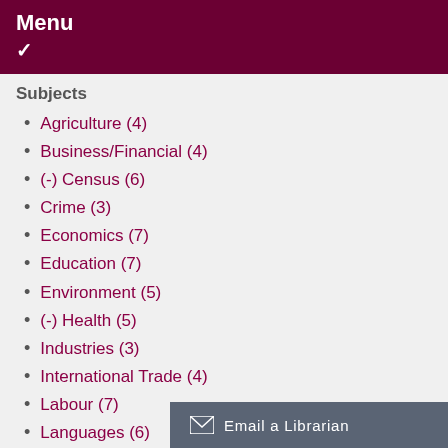Menu
Subjects
Agriculture (4)
Business/Financial (4)
(-) Census (6)
Crime (3)
Economics (7)
Education (7)
Environment (5)
(-) Health (5)
Industries (3)
International Trade (4)
Labour (7)
Languages (6)
Political Science (5)
Population and Demography (8)
Public Opinion (3)
(-) Science and Techno…
Email a Librarian